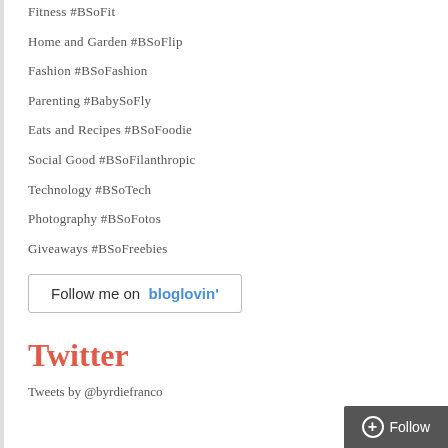Fitness #BSoFit
Home and Garden #BSoFlip
Fashion #BSoFashion
Parenting #BabySoFly
Eats and Recipes #BSoFoodie
Social Good #BSoFilanthropic
Technology #BSoTech
Photography #BSoFotos
Giveaways #BSoFreebies
[Figure (other): Follow me on bloglovin' button with border]
Twitter
Tweets by @byrdiefranco
[Figure (other): Follow button in dark gray at bottom right]